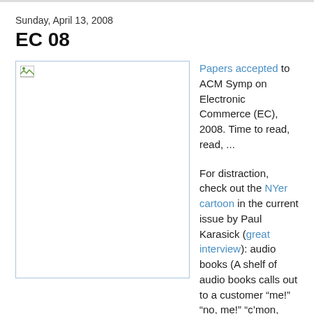Sunday, April 13, 2008
EC 08
[Figure (photo): Broken/missing image placeholder with small green icon in top-left corner]
Papers accepted to ACM Symp on Electronic Commerce (EC), 2008. Time to read, read, ...

For distraction, check out the NYer cartoon in the current issue by Paul Karasick (great interview): audio books (A shelf of audio books calls out to a customer “me!” “no, me!” “c’mon, me!”.)
ps: My friends find me elliptical, in story telling, in drawing on references, and in my sense of humor; the connections have